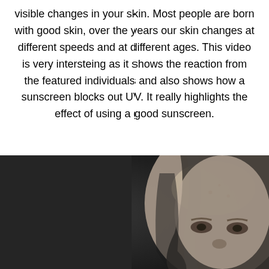visible changes in your skin. Most people are born with good skin, over the years our skin changes at different speeds and at different ages. This video is very intersteing as it shows the reaction from the featured individuals and also shows how a sunscreen blocks out UV. It really highlights the effect of using a good sunscreen.
[Figure (photo): Grayscale close-up photograph of an elderly person's face showing the upper portion including forehead, eyes, and long hair against a dark background.]